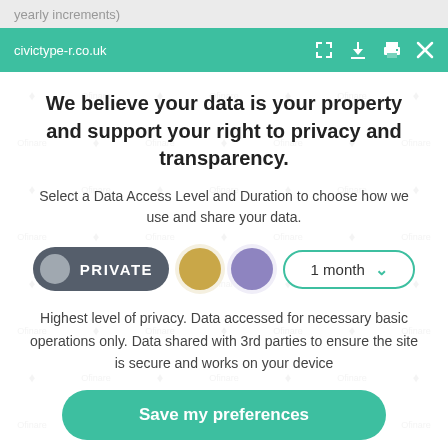yearly increments)
civictype-r.co.uk
We believe your data is your property and support your right to privacy and transparency.
Select a Data Access Level and Duration to choose how we use and share your data.
[Figure (screenshot): Privacy consent controls: PRIVATE toggle button (dark grey pill), gold circle, purple circle, and '1 month' dropdown selector with teal border]
Highest level of privacy. Data accessed for necessary basic operations only. Data shared with 3rd parties to ensure the site is secure and works on your device
Save my preferences
Customize
Privacy policy